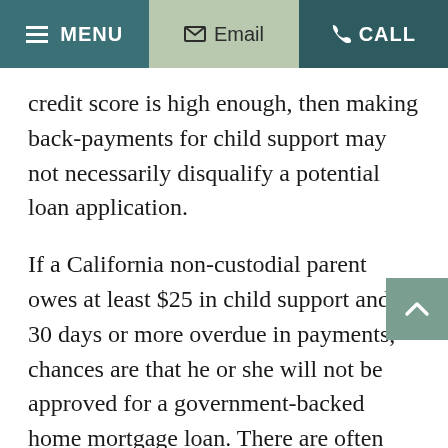MENU | Email | CALL
credit score is high enough, then making back-payments for child support may not necessarily disqualify a potential loan application.
If a California non-custodial parent owes at least $25 in child support and is 30 days or more overdue in payments, chances are that he or she will not be approved for a government-backed home mortgage loan. There are often debt relief options available to help resolve such problems. By consulting with an experienced family law attorney, a concerned parent may be able to rectify